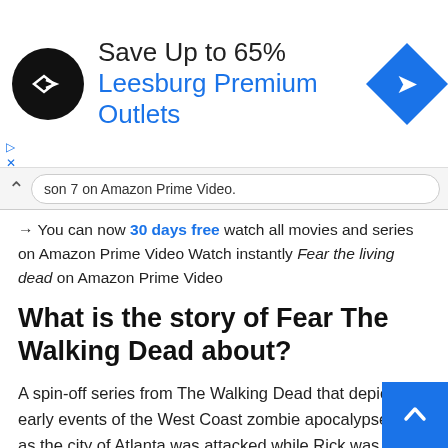[Figure (infographic): Advertisement banner for Leesburg Premium Outlets with circular black logo on left, text 'Save Up to 65% Leesburg Premium Outlets' in center, and blue diamond navigation arrow icon on right]
son 7 on Amazon Prime Video.
→ You can now 30 days free watch all movies and series on Amazon Prime Video Watch instantly Fear the living dead on Amazon Prime Video
What is the story of Fear The Walking Dead about?
A spin-off series from The Walking Dead that depicts the early events of the West Coast zombie apocalypse just as the city of Atlanta was attacked while Rick was in a coma at the local hospital. It shows how the tension already in full swing in the South as it just kicked off in California.